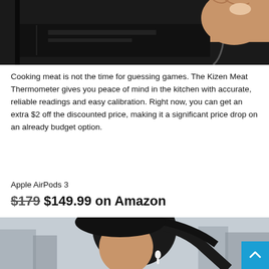[Figure (photo): Close-up photo of a hand holding a dark device with a cable, dark background. Shows a meat thermometer being held.]
Cooking meat is not the time for guessing games. The Kizen Meat Thermometer gives you peace of mind in the kitchen with accurate, reliable readings and easy calibration. Right now, you can get an extra $2 off the discounted price, making it a significant price drop on an already budget option.
Apple AirPods 3
$179 $149.99 on Amazon
[Figure (photo): Photo of a person with dark hair wearing Apple AirPods, with a blurred cityscape background.]